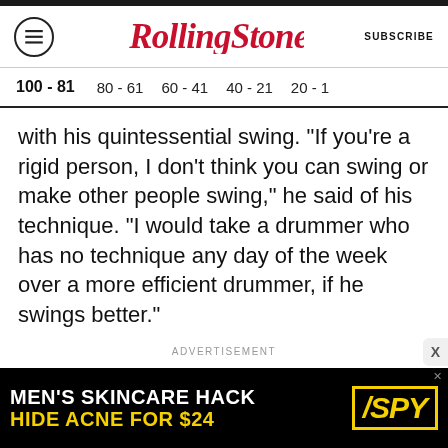RollingStone | SUBSCRIBE
100 - 81 | 80 - 61 | 60 - 41 | 40 - 21 | 20 - 1
with his quintessential swing. "If you're a rigid person, I don't think you can swing or make other people swing," he said of his technique. "I would take a drummer who has no technique any day of the week over a more efficient drummer, if he swings better."
ADVERTISEMENT
[Figure (screenshot): Advertisement banner: MEN'S SKINCARE HACK / HIDE ACNE FOR $24 with SPY logo on black background with yellow text]